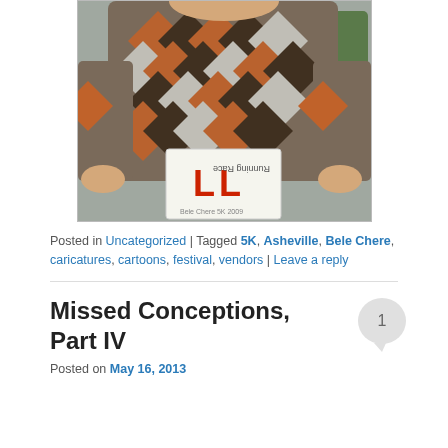[Figure (photo): Person wearing a geometric patterned sweater (diamond/triangle pattern in brown, orange, black tones) holding a race bib number that reads 'LL' and shows 'Bele Chere 5K 2009' text. A car is visible in the background.]
Posted in Uncategorized | Tagged 5K, Asheville, Bele Chere, caricatures, cartoons, festival, vendors | Leave a reply
Missed Conceptions, Part IV
Posted on May 16, 2013